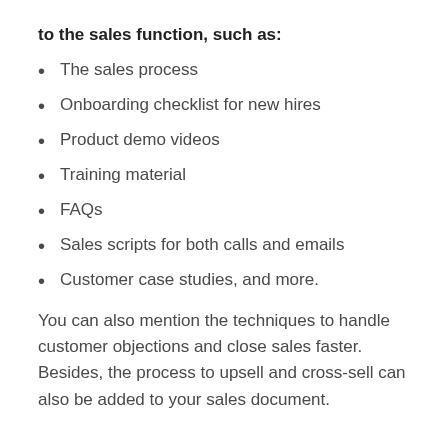to the sales function, such as:
The sales process
Onboarding checklist for new hires
Product demo videos
Training material
FAQs
Sales scripts for both calls and emails
Customer case studies, and more.
You can also mention the techniques to handle customer objections and close sales faster. Besides, the process to upsell and cross-sell can also be added to your sales document.